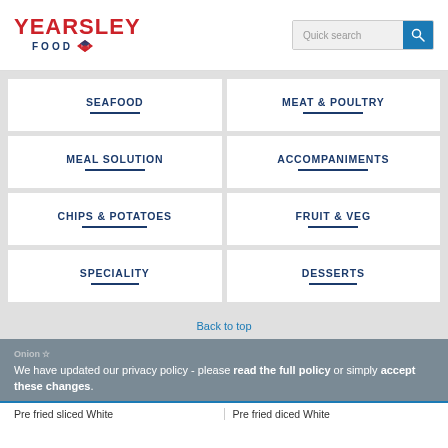[Figure (logo): Yearsley Food logo with red text and blue diamond icon]
SEAFOOD
MEAT & POULTRY
MEAL SOLUTION
ACCOMPANIMENTS
CHIPS & POTATOES
FRUIT & VEG
SPECIALITY
DESSERTS
Back to top
We have updated our privacy policy - please read the full policy or simply accept these changes.
Onion
Pre fried sliced White
Pre fried diced White